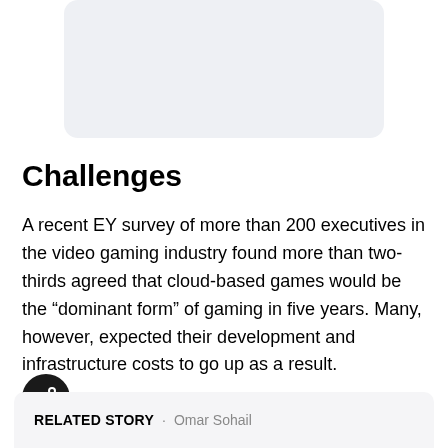[Figure (other): Light gray rounded rectangle placeholder image at top of page]
Challenges
A recent EY survey of more than 200 executives in the video gaming industry found more than two-thirds agreed that cloud-based games would be the “dominant form” of gaming in five years. Many, however, expected their development and infrastructure costs to go up as a result.
RELATED STORY · Omar Sohail